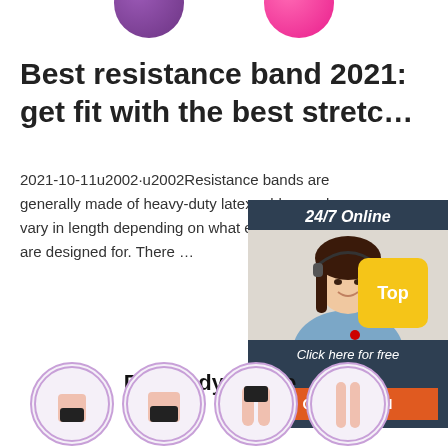[Figure (illustration): Top portion of two exercise balls — purple and pink — cropped at top of page]
Best resistance band 2021: get fit with the best stretc…
2021-10-11u2002·u2002Resistance bands are generally made of heavy-duty latex rubber and vary in length depending on what exercise they are designed for. There …
[Figure (screenshot): Live chat widget with dark blue background. Header says '24/7 Online'. Photo of a smiling woman with headset. Footer says 'Click here for free chat!' with orange QUOTATION button.]
Get Price
[Figure (infographic): Yellow 'Top' button with red dot indicator in bottom right area]
Full Body Shape
[Figure (illustration): Four circular cropped body photos showing different body areas in purple-bordered circles]